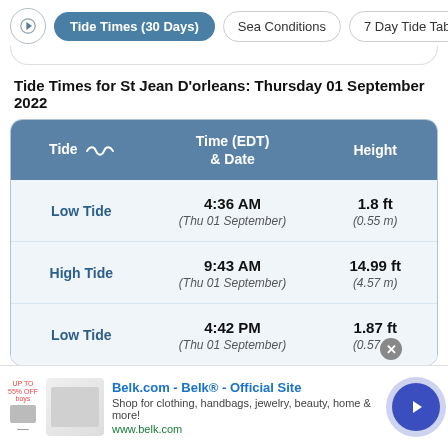Tide Times (30 Days) | Sea Conditions | 7 Day Tide Tab
Tide Times for St Jean D'orleans: Thursday 01 September 2022
| Tide | Time (EDT) & Date | Height |
| --- | --- | --- |
| Low Tide | 4:36 AM
(Thu 01 September) | 1.8 ft
(0.55 m) |
| High Tide | 9:43 AM
(Thu 01 September) | 14.99 ft
(4.57 m) |
| Low Tide | 4:42 PM
(Thu 01 September) | 1.87 ft
(0.57 m) |